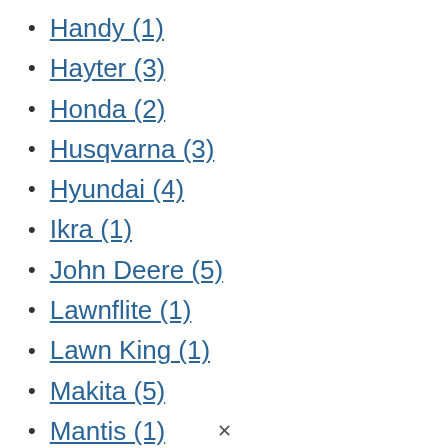Handy (1)
Hayter (3)
Honda (2)
Husqvarna (3)
Hyundai (4)
Ikra (1)
John Deere (5)
Lawnflite (1)
Lawn King (1)
Makita (5)
Mantis (1)
Masport (1)